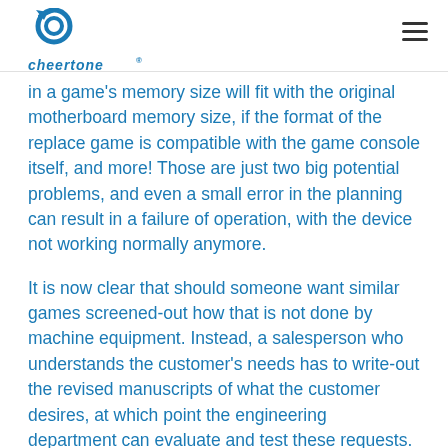Cheertone logo and navigation
in a game's memory size will fit with the original motherboard memory size, if the format of the replace game is compatible with the game console itself, and more! Those are just two big potential problems, and even a small error in the planning can result in a failure of operation, with the device not working normally anymore.
It is now clear that should someone want similar games screened-out how that is not done by machine equipment. Instead, a salesperson who understands the customer's needs has to write-out the revised manuscripts of what the customer desires, at which point the engineering department can evaluate and test these requests. During this period both the patience and professionalism of a salesperson is tested as well as the engineer's technology! This repeated testing can unfortunately also take a lot of time–not a good issue to have